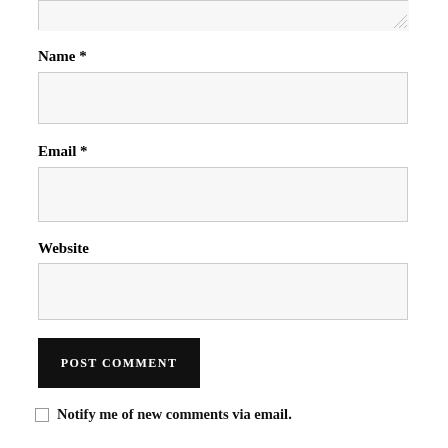[Figure (screenshot): Top portion of a comment form textarea, showing just the bottom border with resize handle]
Name *
[Figure (screenshot): Name input field (empty, light gray background)]
Email *
[Figure (screenshot): Email input field (empty, light gray background)]
Website
[Figure (screenshot): Website input field (empty, light gray background)]
[Figure (screenshot): POST COMMENT button, black background with white uppercase text]
Notify me of new comments via email.